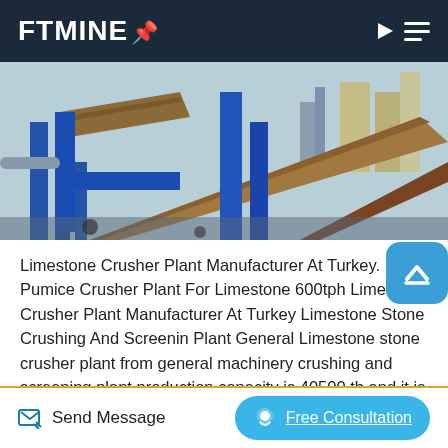FTMINE
[Figure (photo): Industrial limestone crusher plant conveyor belts and screening equipment at a mining facility, with blue steel structures and brown material on conveyors against a light blue sky.]
Limestone Crusher Plant Manufacturer At Turkey. Pumice Crusher Plant For Limestone 600tph Limestone Crusher Plant Manufacturer At Turkey Limestone Stone Crushing And Screenin Plant General Limestone stone crusher plant from general machinery crushing and screening plant production capacity is 40500 th and it is the 1550 times the capacity of the
Send Message   Free Consultation